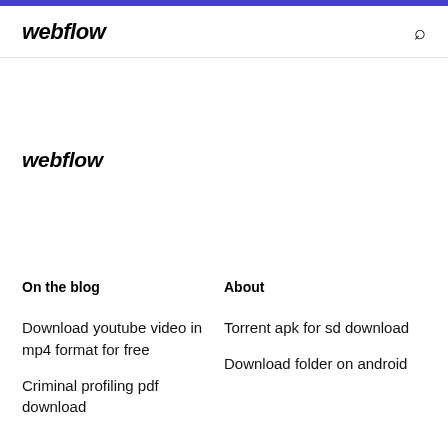webflow
webflow
On the blog
About
Download youtube video in mp4 format for free
Criminal profiling pdf download
Torrent apk for sd download
Download folder on android